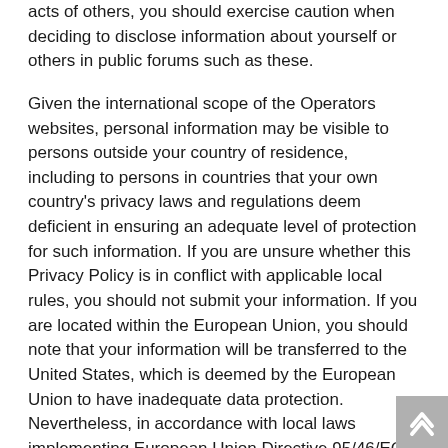acts of others, you should exercise caution when deciding to disclose information about yourself or others in public forums such as these.
Given the international scope of the Operators websites, personal information may be visible to persons outside your country of residence, including to persons in countries that your own country's privacy laws and regulations deem deficient in ensuring an adequate level of protection for such information. If you are unsure whether this Privacy Policy is in conflict with applicable local rules, you should not submit your information. If you are located within the European Union, you should note that your information will be transferred to the United States, which is deemed by the European Union to have inadequate data protection. Nevertheless, in accordance with local laws implementing European Union Directive 95/46/EC of 24 October 1995 ("EU Privacy Directive") on the protection of individuals with regard to the processing of personal data and on the free